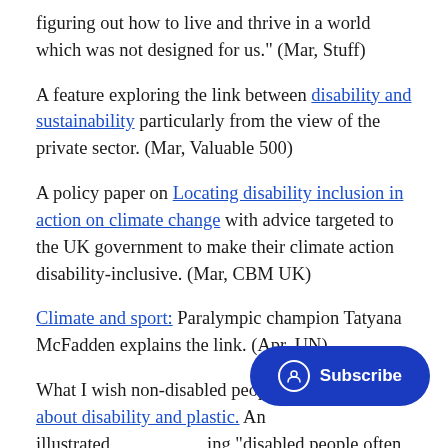figuring out how to live and thrive in a world which was not designed for us." (Mar, Stuff)
A feature exploring the link between disability and sustainability particularly from the view of the private sector. (Mar, Valuable 500)
A policy paper on Locating disability inclusion in action on climate change with advice targeted to the UK government to make their climate action disability-inclusive. (Mar, CBM UK)
Climate and sport: Paralympic champion Tatyana McFadden explains the link. (Apr, UN)
What I wish non-disabled people understood about disability and plastic. An illustrated [showing] "disabled people often suffer most [from plastic] pollution, but many also rely on plastic products for health, independence and dignity." (Mar,